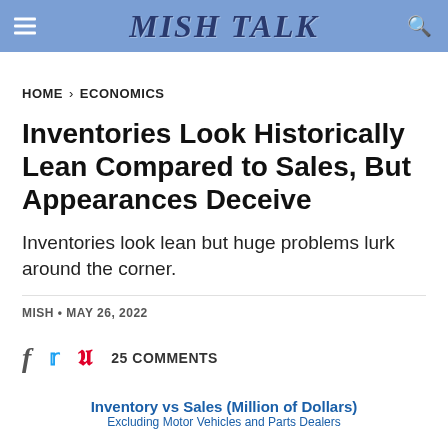MISH TALK
HOME > ECONOMICS
Inventories Look Historically Lean Compared to Sales, But Appearances Deceive
Inventories look lean but huge problems lurk around the corner.
MISH • MAY 26, 2022
25 COMMENTS
Inventory vs Sales (Million of Dollars)
Excluding Motor Vehicles and Parts Dealers